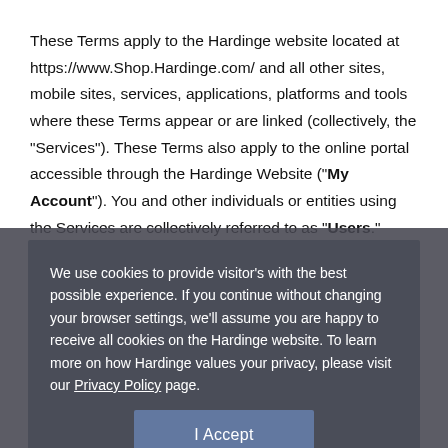These Terms apply to the Hardinge website located at https://www.Shop.Hardinge.com/ and all other sites, mobile sites, services, applications, platforms and tools where these Terms appear or are linked (collectively, the "Services"). These Terms also apply to the online portal accessible through the Hardinge Website ("My Account"). You and other individuals or entities using the Services are collectively referred to as "Users."
We use cookies to provide visitor's with the best possible experience. If you continue without changing your browser settings, we'll assume you are happy to receive all cookies on the Hardinge website. To learn more on how Hardinge values your privacy, please visit our Privacy Policy page.
I Accept